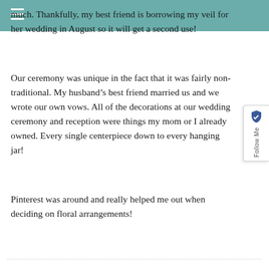much. Thankfully, my best friend is borrowing my veil for her wedding in August so it will get a second use!
Our ceremony was unique in the fact that it was fairly non-traditional. My husband’s best friend married us and we wrote our own vows. All of the decorations at our wedding ceremony and reception were things my mom or I already owned. Every single centerpiece down to every hanging jar!
Pinterest was around and really helped me out when deciding on floral arrangements!